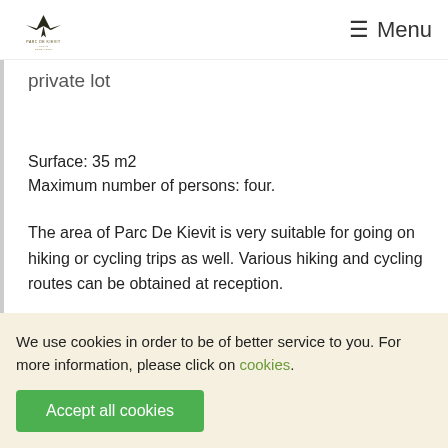Parc De Kievit — Menu
private lot
Surface: 35 m2
Maximum number of persons: four.
The area of Parc De Kievit is very suitable for going on hiking or cycling trips as well. Various hiking and cycling routes can be obtained at reception.
Would you like to have a rental bicycle available the... nos of bicycle. A bicycle can be rented from € 10 per day.
We use cookies in order to be of better service to you. For more information, please click on cookies.
Accept all cookies